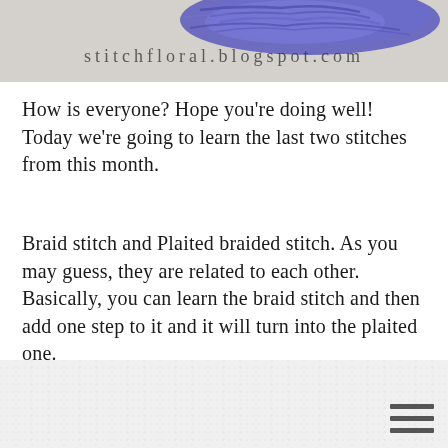[Figure (photo): Close-up photo of blue/purple embroidery thread/floss on white fabric with watermark text 'stitchfloral.blogspot.com']
How is everyone? Hope you're doing well! Today we're going to learn the last two stitches from this month.
Braid stitch and Plaited braided stitch. As you may guess, they are related to each other. Basically, you can learn the braid stitch and then add one step to it and it will turn into the plaited one.
[Figure (photo): Close-up photo of white evenweave or aida embroidery fabric with a hamburger/menu icon (three horizontal lines) visible in the bottom right corner]